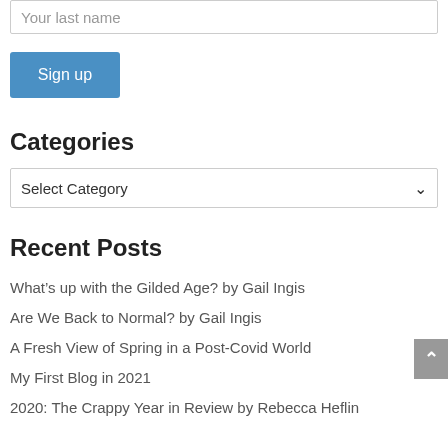Your last name
Sign up
Categories
Select Category
Recent Posts
What’s up with the Gilded Age? by Gail Ingis
Are We Back to Normal? by Gail Ingis
A Fresh View of Spring in a Post-Covid World
My First Blog in 2021
2020: The Crappy Year in Review by Rebecca Heflin
Recent Comments
Gail Ingis on My First Blog in 2021